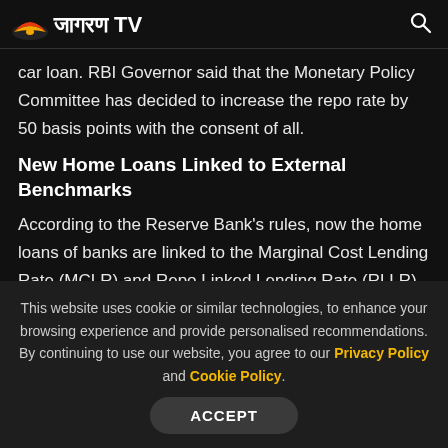जागरण TV
car loan. RBI Governor said that the Monetary Policy Committee has decided to increase the repo rate by 50 basis points with the consent of all.
New Home Loans Linked to External Benchmarks
According to the Reserve Bank's rules, now the home loans of banks are linked to the Marginal Cost Lending Rate (MCLR) and Repo Linked Lending Rate (RLLR). In 2019, RBI had asked all banks to link new home loans to external benchmarks, as banks were not passing on the full benefit of
This website uses cookie or similar technologies, to enhance your browsing experience and provide personalised recommendations. By continuing to use our website, you agree to our Privacy Policy and Cookie Policy.
ACCEPT